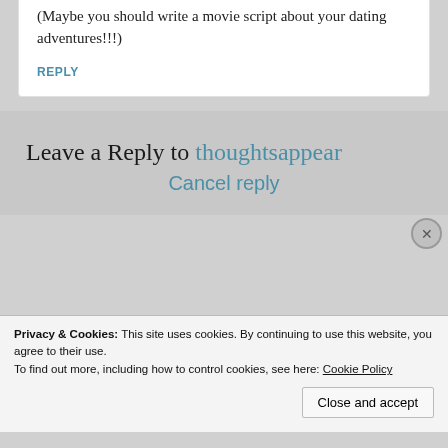(Maybe you should write a movie script about your dating adventures!!!)
REPLY
Leave a Reply to thoughtsappear
Cancel reply
Privacy & Cookies: This site uses cookies. By continuing to use this website, you agree to their use.
To find out more, including how to control cookies, see here: Cookie Policy
Close and accept